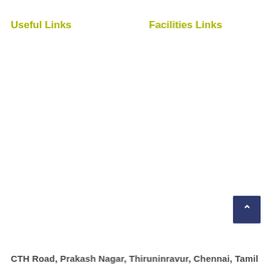Useful Links
Facilities Links
CTH Road, Prakash Nagar, Thiruninravur, Chennai, Tamil